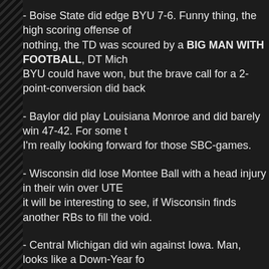- Boise State did edge BYU 7-6. Funny thing, the high scoring offense of nothing, the TD was scoured by a BIG MAN WITH FOOTBALL, DT Mich BYU could have won, but the brave call for a 2-point-conversion did back
- Baylor did play Louisiana Monroe and did barely win 47-42. For some t I'm really looking forward for those SBC-games.
- Wisconsin did lose Montee Ball with a head injury in their win over UTE it will be interesting to see, if Wisconsin finds another RBs to fill the void.
- Central Michigan did win against Iowa. Man, looks like a Down-Year fo Kirk Ferentz is on a hot seat in his 14th season at Iowa?
- Ole Miss did win against Tulane. Hugh Freeze does seem to bring the R again in his first year, right?
- UTSA is a newcomer in the FBS-football circus and did start 4-0! Ok, th quality team yet, still impressive.
- Western Michigan did beat UConn. The MAC does make some noise th
- Miami (FL) win against Georgia Tech. Looks like the yellow jackets are The Hurricanes are not supposed to be competitive, so either they ARE c jackets are NOT.